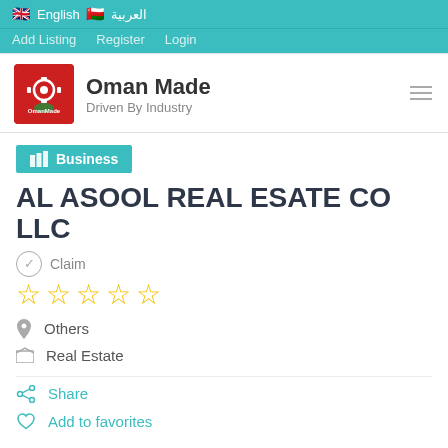🇬🇧 English 🇴🇲 العربية
Add Listing   Register   Login
[Figure (logo): Oman Made logo - red square with gear and leaf design. Brand name: Oman Made. Tagline: Driven By Industry]
Business
AL ASOOL REAL ESATE CO LLC
Claim
★★★★★ (empty stars, no rating)
Others
Real Estate
Share
Add to favorites